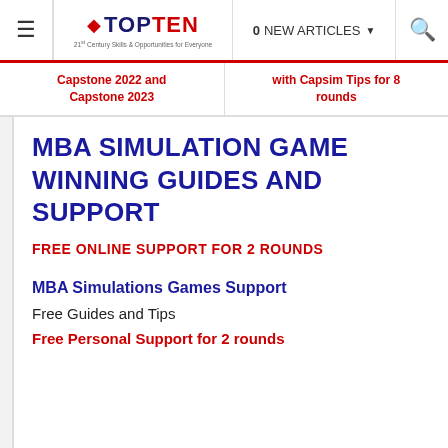TOPTEN — 0 NEW ARTICLES
Capstone 2022 and Capstone 2023 | with Capsim Tips for 8 rounds
MBA SIMULATION GAME WINNING GUIDES AND SUPPORT
FREE ONLINE SUPPORT FOR 2 ROUNDS
MBA Simulations Games Support
Free Guides and Tips
Free Personal Support for 2 rounds